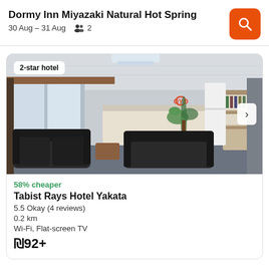Dormy Inn Miyazaki Natural Hot Spring
30 Aug – 31 Aug  👥 2
[Figure (screenshot): Hotel lobby photo showing black leather sofas, reception desk with OYO branding, a plant, and storage shelves. Badge reads '2-star hotel'.]
58% cheaper
Tabist Rays Hotel Yakata
5.5 Okay (4 reviews)
0.2 km
Wi-Fi, Flat-screen TV
₪92+